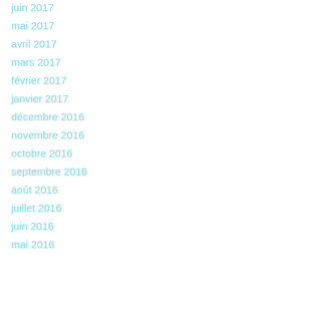juin 2017
mai 2017
avril 2017
mars 2017
février 2017
janvier 2017
décembre 2016
novembre 2016
octobre 2016
septembre 2016
août 2016
juillet 2016
juin 2016
mai 2016